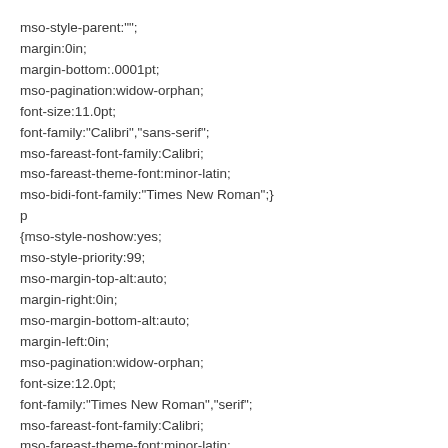mso-style-parent:"";
margin:0in;
margin-bottom:.0001pt;
mso-pagination:widow-orphan;
font-size:11.0pt;
font-family:"Calibri","sans-serif";
mso-fareast-font-family:Calibri;
mso-fareast-theme-font:minor-latin;
mso-bidi-font-family:"Times New Roman";}
p
{mso-style-noshow:yes;
mso-style-priority:99;
mso-margin-top-alt:auto;
margin-right:0in;
mso-margin-bottom-alt:auto;
margin-left:0in;
mso-pagination:widow-orphan;
font-size:12.0pt;
font-family:"Times New Roman","serif";
mso-fareast-font-family:Calibri;
mso-fareast-theme-font:minor-latin;